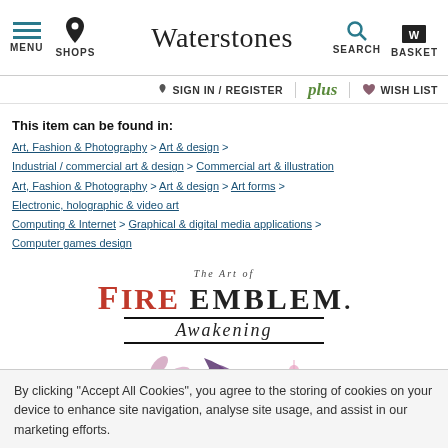Waterstones — MENU | SHOPS | SEARCH | BASKET
SIGN IN / REGISTER | plus | WISH LIST
This item can be found in:
Art, Fashion & Photography > Art & design > Industrial / commercial art & design > Commercial art & illustration
Art, Fashion & Photography > Art & design > Art forms > Electronic, holographic & video art
Computing & Internet > Graphical & digital media applications > Computer games design
[Figure (illustration): Book cover of 'The Art of Fire Emblem: Awakening' showing the title text and a fantasy character with purple hair and flowing robes]
By clicking "Accept All Cookies", you agree to the storing of cookies on your device to enhance site navigation, analyse site usage, and assist in our marketing efforts.